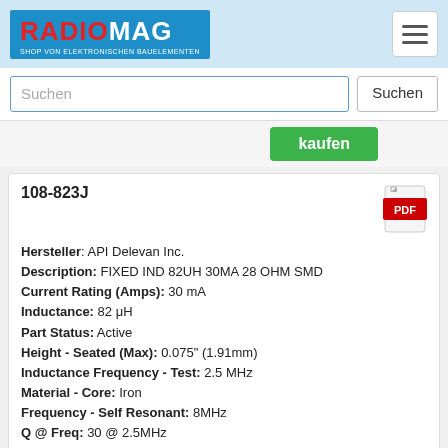[Figure (logo): RADIOMAG logo - shop von elektronischen bauelementen]
Suchen
kaufen
108-823J
Hersteller: API Delevan Inc.
Description: FIXED IND 82UH 30MA 28 OHM SMD
Current Rating (Amps): 30 mA
Inductance: 82 μH
Part Status: Active
Height - Seated (Max): 0.075" (1.91mm)
Inductance Frequency - Test: 2.5 MHz
Material - Core: Iron
Frequency - Self Resonant: 8MHz
Q @ Freq: 30 @ 2.5MHz
DC Resistance (DCR): 28Ohm Max
Operating Temperature: -55°C ~ 125°C
Shielding: Unshielded
Mounting Type: Surface Mount
Size / Dimension: 0.100" L x 0.100" W (2.54mm x 2.54mm)
Package / Case: Nonstandard, 2 Lead
Tolerance: ±5%
Packaging: Tape & Reel (TR)